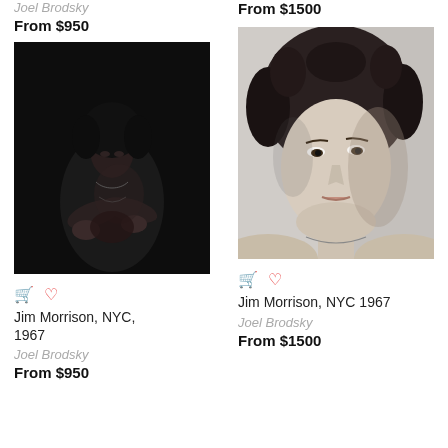Joel Brodsky
From $950
From $1500
[Figure (photo): Black and white photo of Jim Morrison in dark setting, NYC 1967, shirtless with chain necklace, arms crossed]
[Figure (photo): Black and white close-up portrait of Jim Morrison, NYC 1967, curly hair, shirtless with chain necklace]
Jim Morrison, NYC, 1967
Joel Brodsky
From $950
Jim Morrison, NYC 1967
Joel Brodsky
From $1500